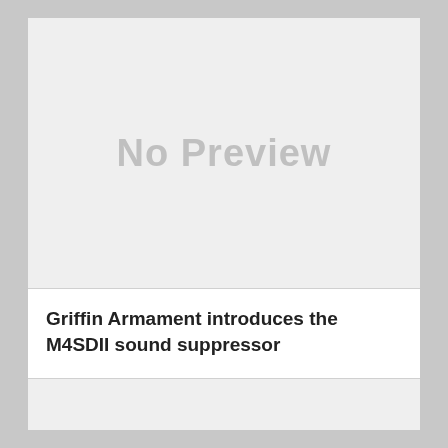[Figure (other): No Preview placeholder image area with light gray background]
Griffin Armament introduces the M4SDII sound suppressor